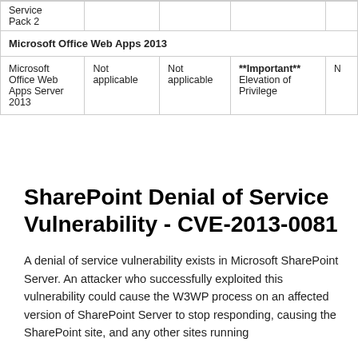| Product | Col2 | Col3 | Severity | Col5 |
| --- | --- | --- | --- | --- |
| Service
Pack 2 |  |  |  |  |
| Microsoft Office Web Apps 2013 |  |  |  |  |
| Microsoft Office Web Apps Server 2013 | Not applicable | Not applicable | **Important** Elevation of Privilege | N |
SharePoint Denial of Service Vulnerability - CVE-2013-0081
A denial of service vulnerability exists in Microsoft SharePoint Server. An attacker who successfully exploited this vulnerability could cause the W3WP process on an affected version of SharePoint Server to stop responding, causing the SharePoint site, and any other sites running